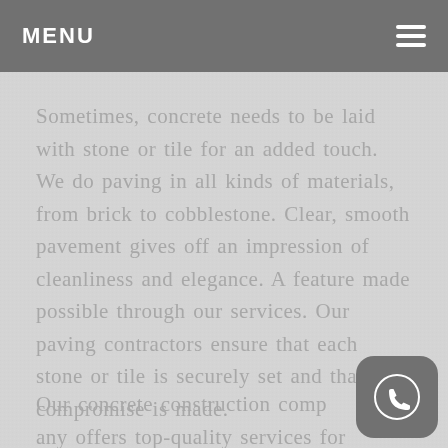MENU
Sometimes, concrete needs to be laid with stone or tile for an added touch. We do paving in all kinds of materials, from brick to cobblestone. Clear, smooth pavement gives off an impression of cleanliness and elegance. A feature made possible through our services. Our paving contractors ensure that each stone or tile is securely set and that no compromise is made.
Our concrete construction company offers top-quality services for yo